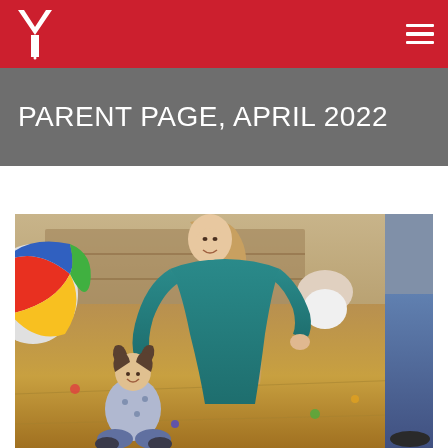YMCA header with logo and navigation menu
PARENT PAGE, APRIL 2022
[Figure (photo): A woman in a teal shirt bends down smiling toward a young toddler girl sitting on a gymnasium floor. In the background are colorful toys, a large multi-colored ball on the left, shelves along the wall, a seated adult, and a standing adult on the right partially cropped. The setting is a YMCA gymnasium with a warm wooden floor.]